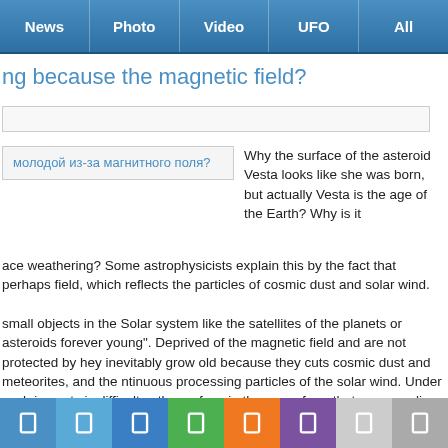News | Photo | Video | UFO | All
…ng because the magnetic field?
молодой из-за магнитного поля?
Why the surface of the asteroid Vesta looks like she was born, but actually Vesta is the age of the Earth? Why is it …ace weathering? Some astrophysicists explain this by the fact that perhaps …field, which reflects the particles of cosmic dust and solar wind.
…small objects in the Solar system like the satellites of the planets or asteroids …forever young". Deprived of the magnetic field and are not protected by …hey inevitably grow old because they cuts cosmic dust and meteorites, and the …ntinuous processing particles of the solar wind. Under such impacts is difficult …s, the surface in the same form that was peculiar to her at birth small object.
…n asteroid, named after the Roman goddess of the hearth Vesta, when …eems forever young, like the goddess. Its surface does not have signs of …s on it, not so much. Moreover, the ground of Vesta, when viewed with our …ight - and this is a sign that the object is young. And this despite the fact that …
Navigation icons